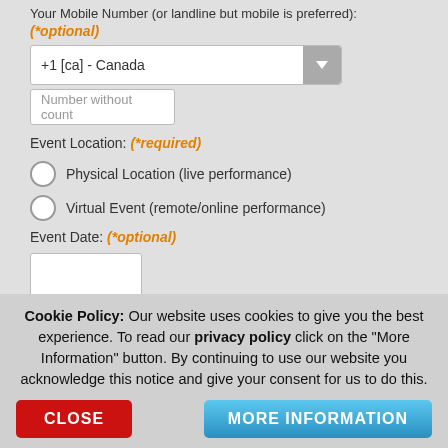Your Mobile Number (or landline but mobile is preferred):
(*optional)
+1 [ca] - Canada
Number without count
Event Location: (*required)
Physical Location (live performance)
Virtual Event (remote/online performance)
Event Date: (*optional)
Your Event Details: (*required)
Cookie Policy: Our website uses cookies to give you the best experience. To read our privacy policy click on the "More Information" button. By continuing to use our website you acknowledge this notice and give your consent for us to do this.
CLOSE
MORE INFORMATION